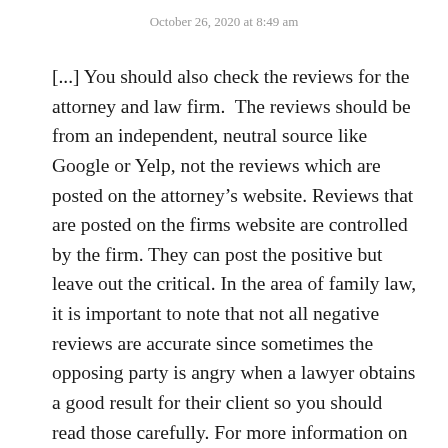October 26, 2020 at 8:49 am
[...] You should also check the reviews for the attorney and law firm.  The reviews should be from an independent, neutral source like Google or Yelp, not the reviews which are posted on the attorney’s website. Reviews that are posted on the firms website are controlled by the firm. They can post the positive but leave out the critical. In the area of family law, it is important to note that not all negative reviews are accurate since sometimes the opposing party is angry when a lawyer obtains a good result for their client so you should read those carefully. For more information on attorney reviews, please